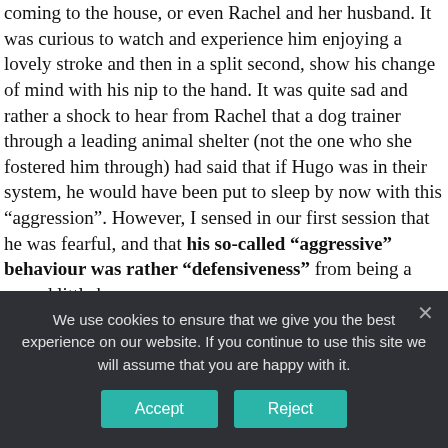coming to the house, or even Rachel and her husband. It was curious to watch and experience him enjoying a lovely stroke and then in a split second, show his change of mind with his nip to the hand. It was quite sad and rather a shock to hear from Rachel that a dog trainer through a leading animal shelter (not the one who she fostered him through) had said that if Hugo was in their system, he would have been put to sleep by now with this “aggression”. However, I sensed in our first session that he was fearful, and that his so-called “aggressive” behaviour was rather “defensiveness” from being a scared little boy.
By far the most incredible aspect of our work together was
We use cookies to ensure that we give you the best experience on our website. If you continue to use this site we will assume that you are happy with it.